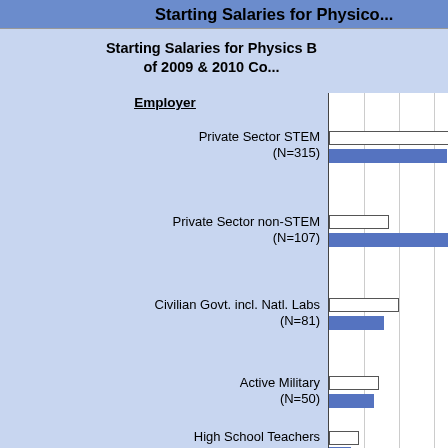Starting Salaries for Physics B...
Starting Salaries for Physics B... of 2009 & 2010 Co...
[Figure (bar-chart): Horizontal grouped bar chart showing starting salaries by employer type. Chart is partially cropped showing only the left portion and part of the bars.]